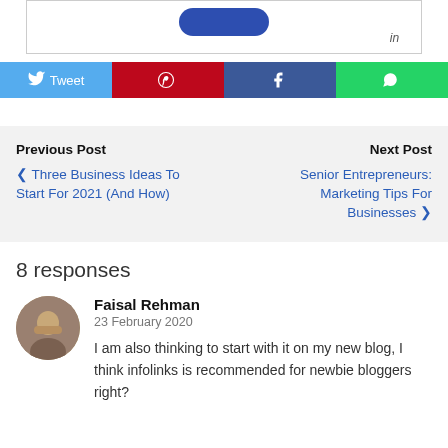[Figure (screenshot): Top portion of a LinkedIn badge/widget with a blue pill button and 'in' logo at bottom right]
[Figure (infographic): Social sharing bar with Tweet (Twitter/blue), Pinterest (red), Facebook (dark blue), WhatsApp (green) buttons]
Previous Post
< Three Business Ideas To Start For 2021 (And How)
Next Post
Senior Entrepreneurs: Marketing Tips For Businesses >
8 responses
Faisal Rehman
23 February 2020
I am also thinking to start with it on my new blog, I think infolinks is recommended for newbie bloggers right?